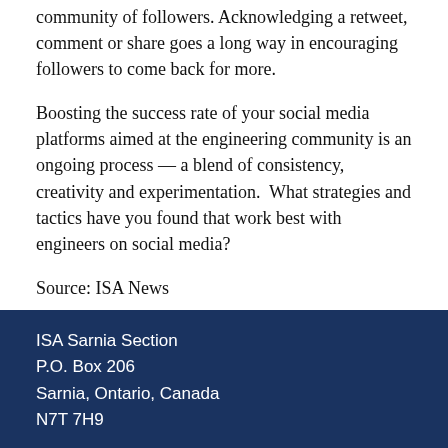community of followers. Acknowledging a retweet, comment or share goes a long way in encouraging followers to come back for more.
Boosting the success rate of your social media platforms aimed at the engineering community is an ongoing process — a blend of consistency, creativity and experimentation.  What strategies and tactics have you found that work best with engineers on social media?
Source: ISA News
ISA Sarnia Section
P.O. Box 206
Sarnia, Ontario, Canada
N7T 7H9